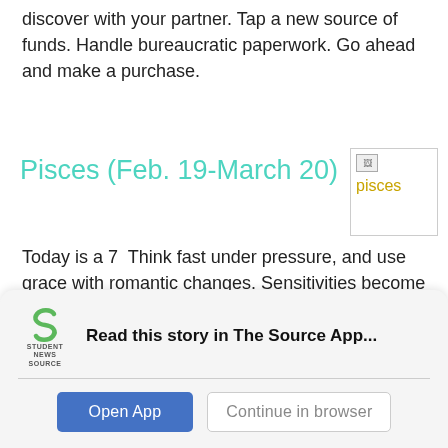discover with your partner. Tap a new source of funds. Handle bureaucratic paperwork. Go ahead and make a purchase.
Pisces (Feb. 19-March 20)
[Figure (illustration): Pisces zodiac sign image placeholder with text 'pisces' in gold/yellow color]
Today is a 7  Think fast under pressure, and use grace with romantic changes. Sensitivities become obvious. There are many ways to express your love and admiration. Listen for what your partner wants and provide it.
Read this story in The Source App...
[Figure (logo): Student News Source logo - green S shape with text SOURCE below]
Open App
Continue in browser